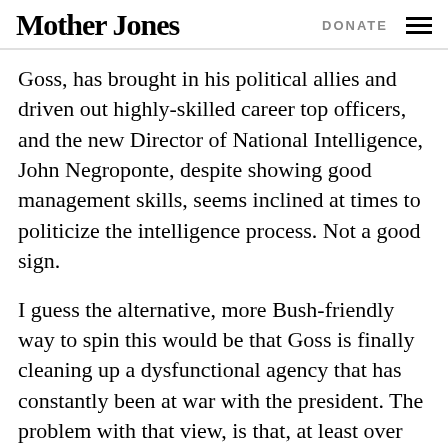Mother Jones   DONATE
Goss, has brought in his political allies and driven out highly-skilled career top officers, and the new Director of National Intelligence, John Negroponte, despite showing good management skills, seems inclined at times to politicize the intelligence process. Not a good sign.
I guess the alternative, more Bush-friendly way to spin this would be that Goss is finally cleaning up a dysfunctional agency that has constantly been at war with the president. The problem with that view, is that, at least over the last four years, as wrong as the CIA has been, they've always been much less wrong than the White House and its hawkish allies